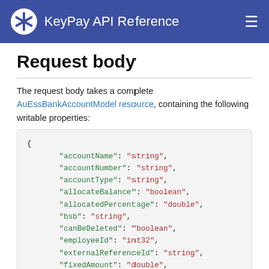KeyPay API Reference
Request body
The request body takes a complete AuEssBankAccountModel resource, containing the following writable properties:
[Figure (screenshot): JSON code block showing AuEssBankAccountModel resource properties: accountName, accountNumber, accountType, allocateBalance, allocatedPercentage, bsb, canBeDeleted, employeeId, externalReferenceId, fixedAmount, id, isEmployeeEditable with their types as strings, booleans, doubles, and int32s]